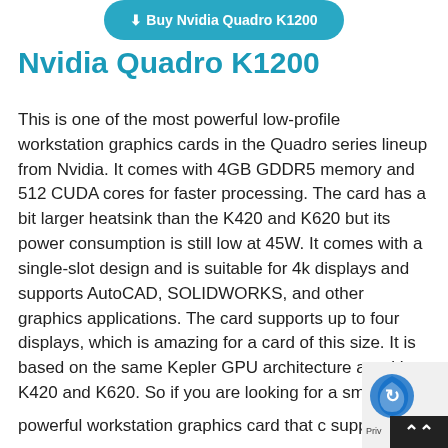[Figure (other): Teal/blue rounded button with text 'Buy Nvidia Quadro K1200']
Nvidia Quadro K1200
This is one of the most powerful low-profile workstation graphics cards in the Quadro series lineup from Nvidia. It comes with 4GB GDDR5 memory and 512 CUDA cores for faster processing. The card has a bit larger heatsink than the K420 and K620 but its power consumption is still low at 45W. It comes with a single-slot design and is suitable for 4k displays and supports AutoCAD, SOLIDWORKS, and other graphics applications. The card supports up to four displays, which is amazing for a card of this size. It is based on the same Kepler GPU architecture as with K420 and K620. So if you are looking for a small powerful workstation graphics card that can support 4 monitors with ease then this one is for you.
[Figure (other): Privacy/reCAPTCHA widget and scroll-to-top button in bottom right corner]